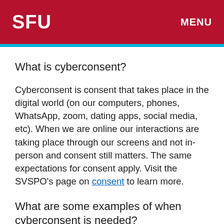SFU   MENU
What is cyberconsent?
Cyberconsent is consent that takes place in the digital world (on our computers, phones, WhatsApp, zoom, dating apps, social media, etc). When we are online our interactions are taking place through our screens and not in-person and consent still matters. The same expectations for consent apply. Visit the SVSPO's page on consent to learn more.
What are some examples of when cyberconsent is needed?
We need to ask for consent when sharing photos and